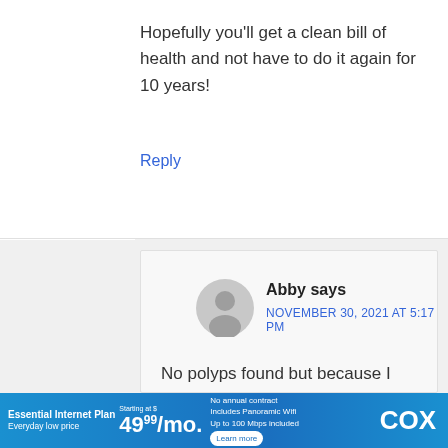Hopefully you'll get a clean bill of health and not have to do it again for 10 years!
Reply
Abby says
NOVEMBER 30, 2021 AT 5:17 PM
No polyps found but because I have family history, they want me back every 5 years. Better be safe than sorry. I agree with you and ESI that people exaggerate how horrid the whole colonoscopy prep and procedure is and it is not the worse
[Figure (illustration): Gray silhouette avatar icon of a person]
Essential Internet Plan – Everyday low price. Starting at $49.99/mo. No annual contract. Includes Panoramic Wifi. Up to 100 Mbps included. Learn more. COX.